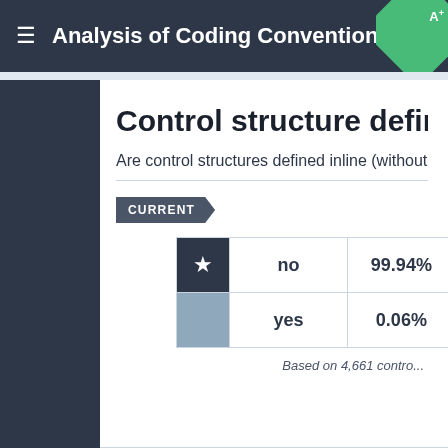Analysis of Coding Conventions for Phing
Control structure defined inline
Are control structures defined inline (without braces)?
|  |  |  |
| --- | --- | --- |
| ★ | no | 99.94% |
|  | yes | 0.06% |
Based on 4,661 contro...